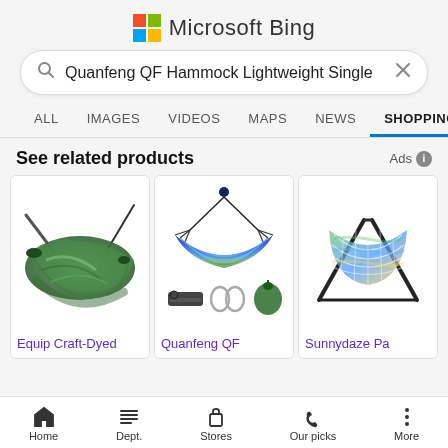Microsoft Bing
Quanfeng QF Hammock Lightweight Single
ALL  IMAGES  VIDEOS  MAPS  NEWS  SHOPPING
See related products
Ads
[Figure (photo): Equip Craft-Dyed hammock product image — green tie-dyed hammock]
Equip Craft-Dyed
[Figure (photo): Quanfeng QF hammock product image — blue and green striped hammock with straps, carabiners, and carry bag]
Quanfeng QF
[Figure (photo): Sunnydaze Pa... hammock product image — colorful rope hammock with stand, partially visible]
Sunnydaze Pa
Home  Dept.  Stores  Our picks  More